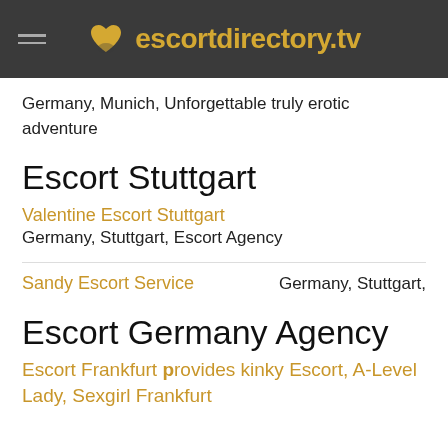escortdirectory.tv
Germany, Munich, Unforgettable truly erotic adventure
Escort Stuttgart
Valentine Escort Stuttgart
Germany, Stuttgart, Escort Agency
Sandy Escort Service
Germany, Stuttgart,
Escort Germany Agency
Escort Frankfurt provides kinky Escort, A-Level Lady, Sexgirl Frankfurt